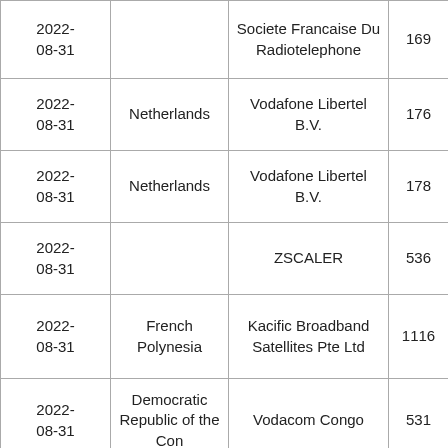| 2022-08-31 |  | Societe Francaise Du Radiotelephone | 169 |
| 2022-08-31 | Netherlands | Vodafone Libertel B.V. | 176 |
| 2022-08-31 | Netherlands | Vodafone Libertel B.V. | 178 |
| 2022-08-31 |  | ZSCALER | 536 |
| 2022-08-31 | French Polynesia | Kacific Broadband Satellites Pte Ltd | 1116 |
| 2022-08-31 | Democratic Republic of the Con | Vodacom Congo | 531 |
| 2022-... |  |  |  |